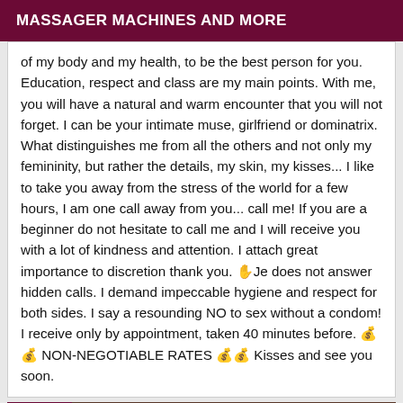MASSAGER MACHINES AND MORE
of my body and my health, to be the best person for you. Education, respect and class are my main points. With me, you will have a natural and warm encounter that you will not forget. I can be your intimate muse, girlfriend or dominatrix. What distinguishes me from all the others and not only my femininity, but rather the details, my skin, my kisses... I like to take you away from the stress of the world for a few hours, I am one call away from you... call me! If you are a beginner do not hesitate to call me and I will receive you with a lot of kindness and attention. I attach great importance to discretion thank you. ✋Je does not answer hidden calls. I demand impeccable hygiene and respect for both sides. I say a resounding NO to sex without a condom! I receive only by appointment, taken 40 minutes before. 💰💰 NON-NEGOTIABLE RATES 💰💰 Kisses and see you soon.
Verified